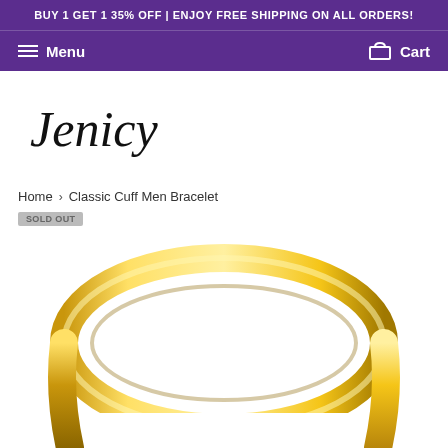BUY 1 GET 1 35% OFF | ENJOY FREE SHIPPING ON ALL ORDERS!
Menu  Cart
[Figure (logo): Jenicy brand logo in cursive/script font]
Home › Classic Cuff Men Bracelet
SOLD OUT
[Figure (photo): Gold classic cuff men bracelet - shiny gold-colored metal band shown from above, curved open bangle style]